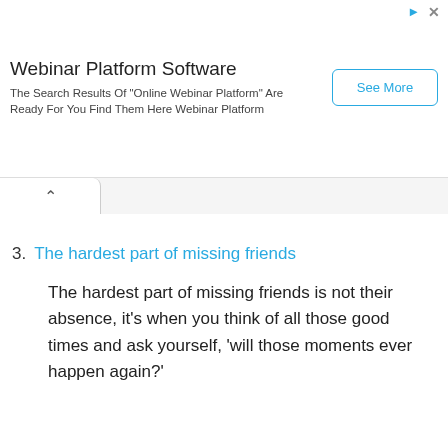[Figure (screenshot): Advertisement banner for Webinar Platform Software with 'See More' button]
The hardest part of missing friends
3. The hardest part of missing friends
The hardest part of missing friends is not their absence, it's when you think of all those good times and ask yourself, 'will those moments ever happen again?'